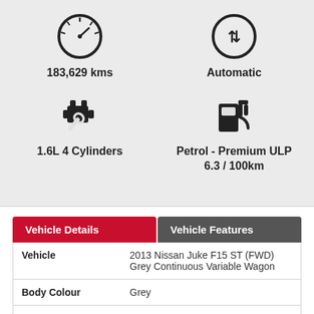[Figure (infographic): Speedometer icon with odometer reading 183,629 kms]
183,629 kms
[Figure (infographic): Gear/transmission icon representing Automatic transmission]
Automatic
[Figure (infographic): Engine icon representing 1.6L 4 Cylinders]
1.6L 4 Cylinders
[Figure (infographic): Fuel pump icon representing Petrol - Premium ULP 6.3 / 100km]
Petrol - Premium ULP
6.3 / 100km
| Vehicle Details | Vehicle Features |
| --- | --- |
| Vehicle | 2013 Nissan Juke F15 ST (FWD) Grey Continuous Variable Wagon |
| Body Colour | Grey |
| Doors | 4 |